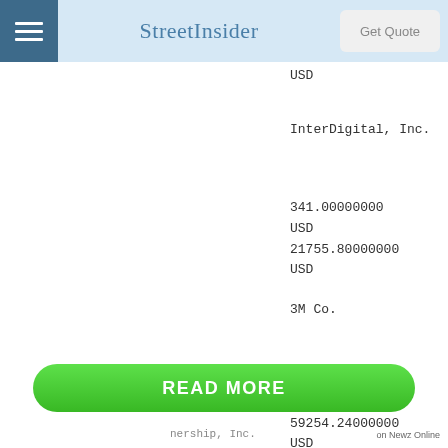StreetInsider
USD
InterDigital, Inc.
341.00000000
USD
21755.80000000
USD
3M Co.
398.00000000
USD
59254.24000000
USD